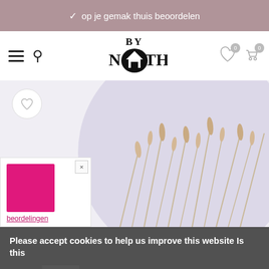op je gemak thuis beoordelen
[Figure (logo): By Noth logo with house icon in the middle of the text]
[Figure (photo): Product image showing dried wheat/grass stalks against a light lavender/grey background inside a circular frame]
[Figure (other): Small product popup with pink square color swatch and close button]
beordelingen
Please accept cookies to help us improve this website Is this OK?  Yes  No  More on cookies »
Powered by Kiyon